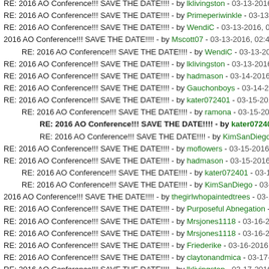RE: 2016 AO Conference!!! SAVE THE DATE!!!! - by lklivingston - 03-13-2016
RE: 2016 AO Conference!!! SAVE THE DATE!!!! - by Primeperiwinkle - 03-13-
RE: 2016 AO Conference!!! SAVE THE DATE!!!! - by WendiC - 03-13-2016, 0
2016 AO Conference!!! SAVE THE DATE!!!! - by Mscott07 - 03-13-2016, 02:41
RE: 2016 AO Conference!!! SAVE THE DATE!!!! - by WendiC - 03-13-2016
RE: 2016 AO Conference!!! SAVE THE DATE!!!! - by lklivingston - 03-13-2016
RE: 2016 AO Conference!!! SAVE THE DATE!!!! - by hadmason - 03-14-2016
RE: 2016 AO Conference!!! SAVE THE DATE!!!! - by Gauchonboys - 03-14-20
RE: 2016 AO Conference!!! SAVE THE DATE!!!! - by kater072401 - 03-15-201
RE: 2016 AO Conference!!! SAVE THE DATE!!!! - by ramona - 03-15-2016
RE: 2016 AO Conference!!! SAVE THE DATE!!!! - by kater072401 - 0
RE: 2016 AO Conference!!! SAVE THE DATE!!!! - by KimSanDiego -
RE: 2016 AO Conference!!! SAVE THE DATE!!!! - by moflowers - 03-15-2016
RE: 2016 AO Conference!!! SAVE THE DATE!!!! - by hadmason - 03-15-2016
RE: 2016 AO Conference!!! SAVE THE DATE!!!! - by kater072401 - 03-17-
RE: 2016 AO Conference!!! SAVE THE DATE!!!! - by KimSanDiego - 03-26
2016 AO Conference!!! SAVE THE DATE!!!! - by thegirlwhopaintedtrees - 03-1
RE: 2016 AO Conference!!! SAVE THE DATE!!!! - by Purposeful Abnegation -
RE: 2016 AO Conference!!! SAVE THE DATE!!!! - by Mrsjones1118 - 03-16-2
RE: 2016 AO Conference!!! SAVE THE DATE!!!! - by Mrsjones1118 - 03-16-2
RE: 2016 AO Conference!!! SAVE THE DATE!!!! - by Friederike - 03-16-2016,
RE: 2016 AO Conference!!! SAVE THE DATE!!!! - by claytonandmica - 03-17-
RE: 2016 AO Conference!!! SAVE THE DATE!!!! - by lklivingston - 03-17-2016
RE: 2016 AO Conference!!! SAVE THE DATE!!!! - by Mrsjones1118 - 03-17-2
RE: 2016 AO Conference!!! SAVE THE DATE!!!!